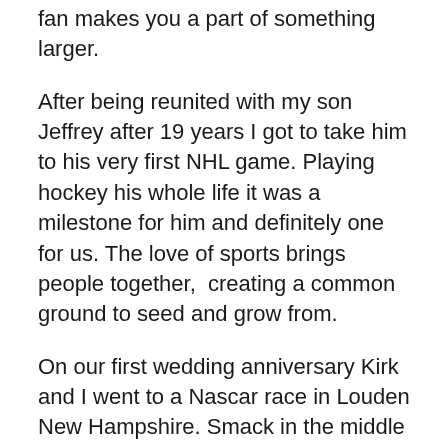fan makes you a part of something larger.
After being reunited with my son Jeffrey after 19 years I got to take him to his very first NHL game. Playing hockey his whole life it was a milestone for him and definitely one for us. The love of sports brings people together,  creating a common ground to seed and grow from.
On our first wedding anniversary Kirk and I went to a Nascar race in Louden New Hampshire. Smack in the middle of a scorching New England day with thousands of fans; walking billboards for their favourite racers, we were enthusiastically caught up in the excitement.  The roar of the engines, the squeal of the tires, the fighter jet flyover, an unexagerated version of the star spangled banner preceding the checkered flag. A day we will never forget.